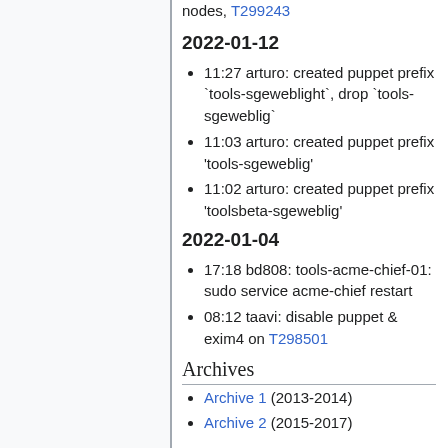nodes, T299243
2022-01-12
11:27 arturo: created puppet prefix `tools-sgeweblight`, drop `tools-sgeweblig`
11:03 arturo: created puppet prefix 'tools-sgeweblig'
11:02 arturo: created puppet prefix 'toolsbeta-sgeweblig'
2022-01-04
17:18 bd808: tools-acme-chief-01: sudo service acme-chief restart
08:12 taavi: disable puppet & exim4 on T298501
Archives
Archive 1 (2013-2014)
Archive 2 (2015-2017)